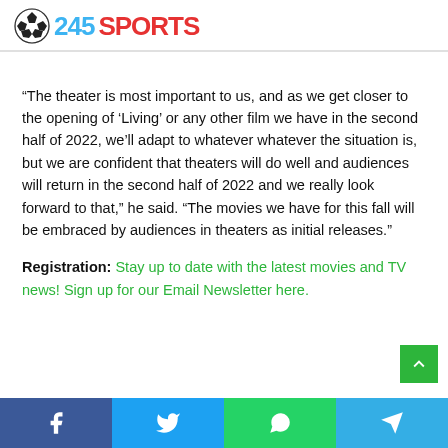24SSPORTS
“The theater is most important to us, and as we get closer to the opening of ‘Living’ or any other film we have in the second half of 2022, we’ll adapt to whatever whatever the situation is, but we are confident that theaters will do well and audiences will return in the second half of 2022 and we really look forward to that,” he said. “The movies we have for this fall will be embraced by audiences in theaters as initial releases.”
Registration: Stay up to date with the latest movies and TV news! Sign up for our Email Newsletter here.